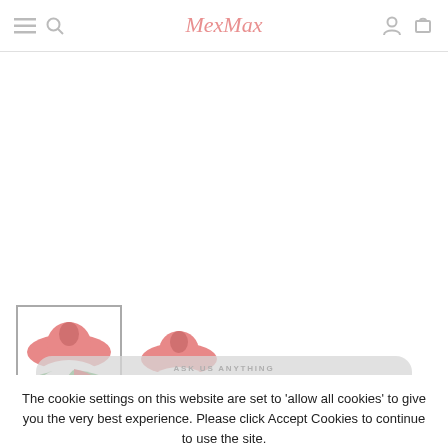MexMax
[Figure (photo): Two Tajin sombrero-shaped product containers, red and green colored. The left one is in a selected state with a border, the right one is unselected.]
The cookie settings on this website are set to 'allow all cookies' to give you the very best experience. Please click Accept Cookies to continue to use the site.
PRIVACY POLICY   ACCEPT ✔